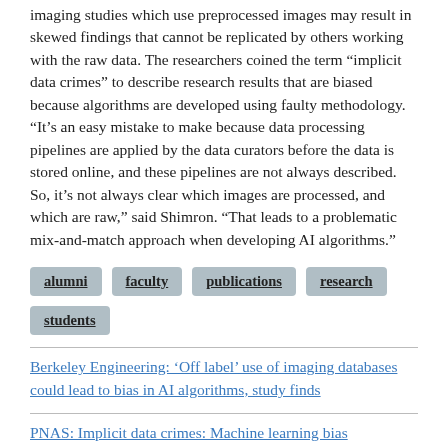imaging studies which use preprocessed images may result in skewed findings that cannot be replicated by others working with the raw data. The researchers coined the term “implicit data crimes” to describe research results that are biased because algorithms are developed using faulty methodology. “It’s an easy mistake to make because data processing pipelines are applied by the data curators before the data is stored online, and these pipelines are not always described. So, it’s not always clear which images are processed, and which are raw,” said Shimron. “That leads to a problematic mix-and-match approach when developing AI algorithms.”
alumni
faculty
publications
research
students
Berkeley Engineering: ‘Off label’ use of imaging databases could lead to bias in AI algorithms, study finds
PNAS: Implicit data crimes: Machine learning bias